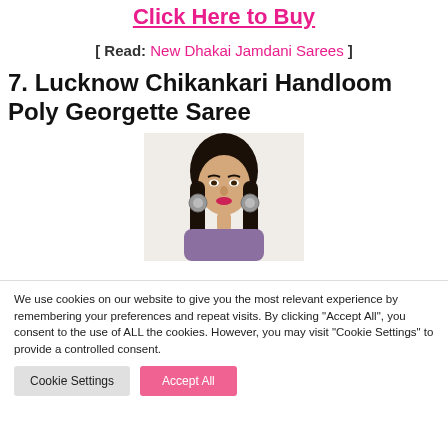Click Here to Buy
[ Read: New Dhakai Jamdani Sarees ]
7. Lucknow Chikankari Handloom Poly Georgette Saree
[Figure (photo): Woman wearing saree, shown from shoulders up, with long dark hair and large earrings, red lipstick]
We use cookies on our website to give you the most relevant experience by remembering your preferences and repeat visits. By clicking "Accept All", you consent to the use of ALL the cookies. However, you may visit "Cookie Settings" to provide a controlled consent.